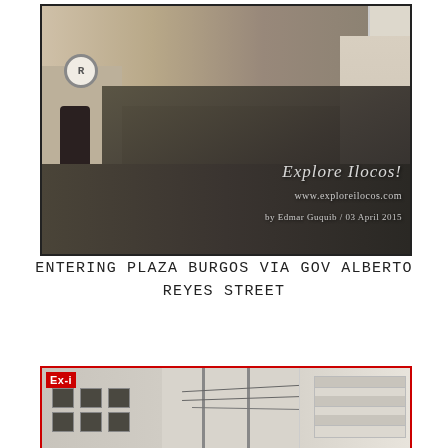[Figure (photo): Street scene showing rows of parked motorcycles along Gov Alberto Reyes Street approaching Plaza Burgos. Tricycles and jeepneys visible in background. Watermark reads 'Explore Ilocos! www.exploreilocos.com by Edmar Guquib / 03 April 2015'.]
ENTERING PLAZA BURGOS VIA GOV ALBERTO REYES STREET
[Figure (photo): Black and white or desaturated photo of a street with buildings on both sides and utility poles with wires. A red 'Ex-i' badge/logo overlay in top-left corner.]